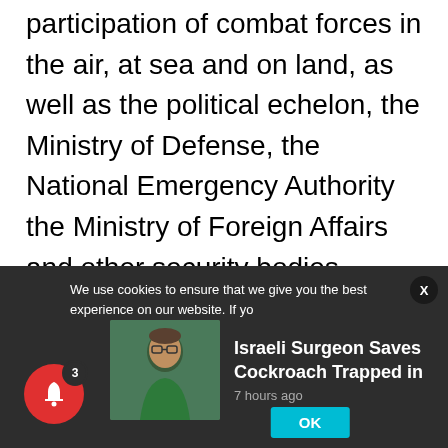participation of combat forces in the air, at sea and on land, as well as the political echelon, the Ministry of Defense, the National Emergency Authority the Ministry of Foreign Affairs and other security bodies.
Chief of Staff Aviv Kochavi decided not to cancel or postpone the exercise despite the mounting tensions in Jerusalem, Judea and Samaria, and the Gaza Strip.
We use cookies to ensure that we give you the best experience on our website. If yo
[Figure (photo): Photo of a person wearing green clothing and glasses, used as a news article thumbnail]
Israeli Surgeon Saves Cockroach Trapped in — 7 hours ago